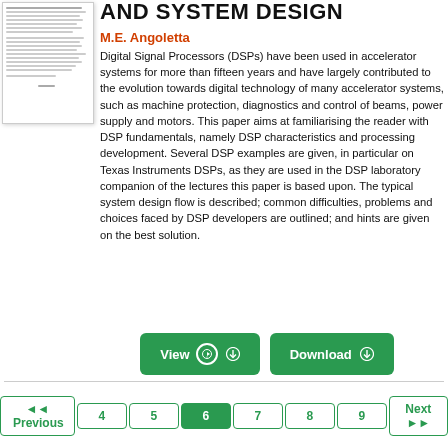[Figure (screenshot): Thumbnail preview of the document page showing lines of text]
AND SYSTEM DESIGN
M.E. Angoletta
Digital Signal Processors (DSPs) have been used in accelerator systems for more than fifteen years and have largely contributed to the evolution towards digital technology of many accelerator systems, such as machine protection, diagnostics and control of beams, power supply and motors. This paper aims at familiarising the reader with DSP fundamentals, namely DSP characteristics and processing development. Several DSP examples are given, in particular on Texas Instruments DSPs, as they are used in the DSP laboratory companion of the lectures this paper is based upon. The typical system design flow is described; common difficulties, problems and choices faced by DSP developers are outlined; and hints are given on the best solution.
View  Download
◄◄ Previous  4  5  6  7  8  9  Next ►►